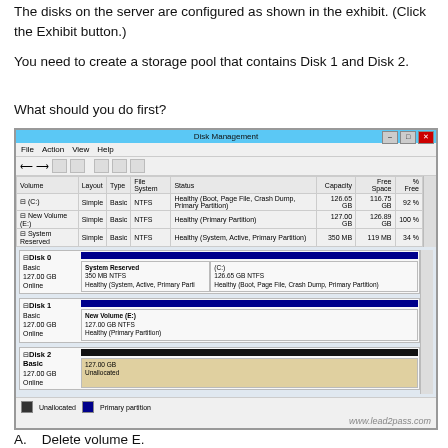The disks on the server are configured as shown in the exhibit. (Click the Exhibit button.)
You need to create a storage pool that contains Disk 1 and Disk 2.
What should you do first?
[Figure (screenshot): Windows Disk Management window showing Disk 0 (127.00 GB, System Reserved + C: partitions), Disk 1 (127.00 GB, New Volume E: primary partition), and Disk 2 (127.00 GB, Unallocated). The table at top shows volumes: C: Simple Basic NTFS Healthy (Boot, Page File, Crash Dump, Primary Partition) 126.65 GB 116.75 GB 92%; New Volume (E:) Simple Basic NTFS Healthy (Primary Partition) 127.00 GB 126.89 GB 100%; System Reserved Simple Basic NTFS Healthy (System, Active, Primary Partition) 350 MB 119 MB 34%.]
A.   Delete volume E.